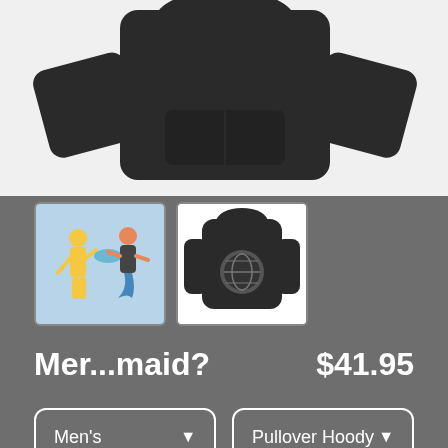[Figure (photo): Dark charcoal/black pullover hoodie product photo on white background, showing front and back views]
[Figure (photo): Thumbnail 1: Illustration on light blue background showing two figures]
[Figure (photo): Thumbnail 2: Dark hoodie on white background with circular logo on back]
Mer...maid?
$41.95
Men's
Pullover Hoody
SELECT YOUR FIT
$41.95
French Terry